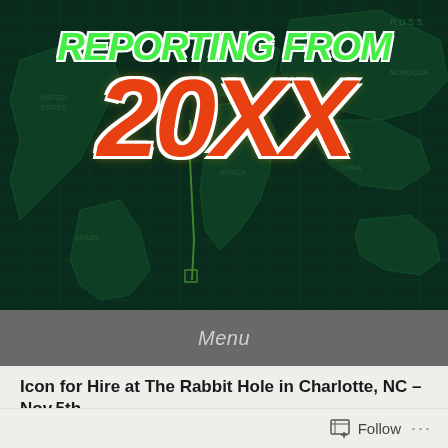[Figure (illustration): Website header banner with dark green matrix/map world background with 'REPORTING FROM 20XX' logo — 'REPORTING FROM' in green outlined graffiti font, '20XX' in large orange-red graffiti style with a cartoon rabbit face, white outline on all text]
Menu
Icon for Hire at The Rabbit Hole in Charlotte, NC – Nov.5th
Posted on November 7, 2016 by Jonathan Golian
Follow ...